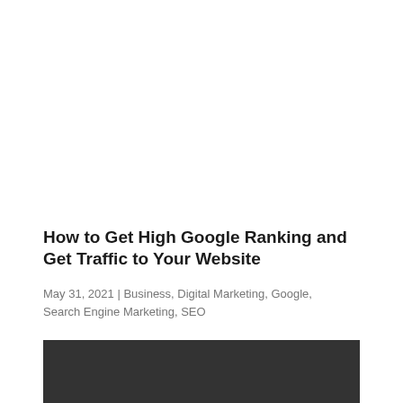How to Get High Google Ranking and Get Traffic to Your Website
May 31, 2021 | Business, Digital Marketing, Google, Search Engine Marketing, SEO
[Figure (photo): Dark/black background image, partially visible at the bottom of the page]